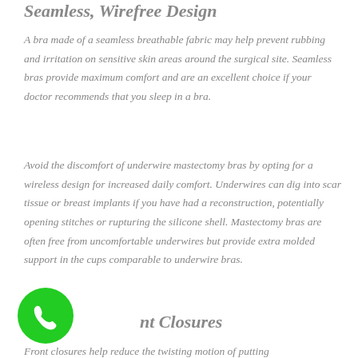Seamless, Wirefree Design
A bra made of a seamless breathable fabric may help prevent rubbing and irritation on sensitive skin areas around the surgical site. Seamless bras provide maximum comfort and are an excellent choice if your doctor recommends that you sleep in a bra.
Avoid the discomfort of underwire mastectomy bras by opting for a wireless design for increased daily comfort. Underwires can dig into scar tissue or breast implants if you have had a reconstruction, potentially opening stitches or rupturing the silicone shell. Mastectomy bras are often free from uncomfortable underwires but provide extra molded support in the cups comparable to underwire bras.
nt Closures
Front closures help reduce the twisting motion of putting